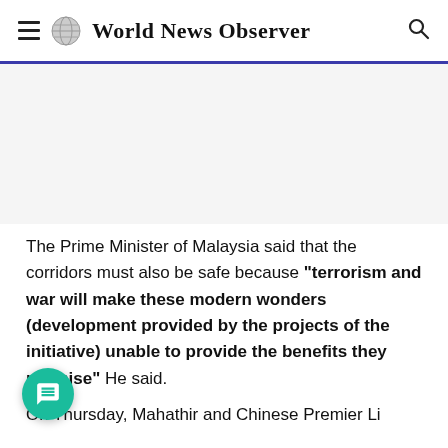World News Observer
The Prime Minister of Malaysia said that the corridors must also be safe because "terrorism and war will make these modern wonders (development provided by the projects of the initiative) unable to provide the benefits they promise" He said.
On Thursday, Mahathir and Chinese Premier Li